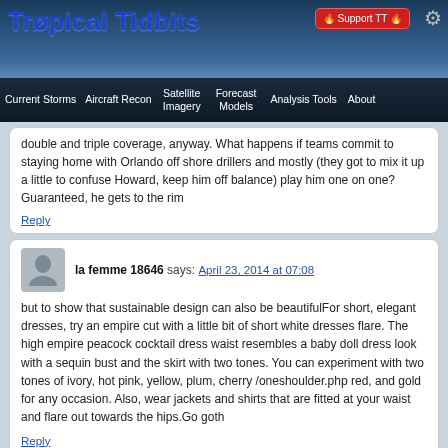Tropical Tidbits — Navigation: Current Storms, Aircraft Recon, Satellite Imagery, Forecast Models, Analysis Tools, About
double and triple coverage, anyway. What happens if teams commit to staying home with Orlando off shore drillers and mostly (they got to mix it up a little to confuse Howard, keep him off balance) play him one on one? Guaranteed, he gets to the rim
Reply
la femme 18646 says: April 23, 2014 at 07:08
but to show that sustainable design can also be beautifulFor short, elegant dresses, try an empire cut with a little bit of short white dresses flare. The high empire peacock cocktail dress waist resembles a baby doll dress look with a sequin bust and the skirt with two tones. You can experiment with two tones of ivory, hot pink, yellow, plum, cherry /oneshoulder.php red, and gold for any occasion. Also, wear jackets and shirts that are fitted at your waist and flare out towards the hips.Go goth
Reply
cheap nike air max 90 says: April 23, 2014 at 07:57
based on feeling stimulatedFootball shots nike blazers seriously a individually intended program may introduce your tyke to a playful in, solid, and even monitored habitat. provide progressive basketball get togethers places we practice ordinary methods,